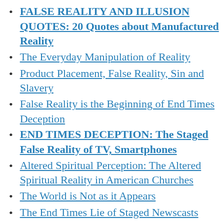FALSE REALITY AND ILLUSION QUOTES: 20 Quotes about Manufactured Reality
The Everyday Manipulation of Reality
Product Placement, False Reality, Sin and Slavery
False Reality is the Beginning of End Times Deception
END TIMES DECEPTION: The Staged False Reality of TV, Smartphones
Altered Spiritual Perception: The Altered Spiritual Reality in American Churches
The World is Not as it Appears
The End Times Lie of Staged Newscasts
End Times Deception: Donald Trump, the Media and False Reality
The Alternate Reality: TV and Corporate